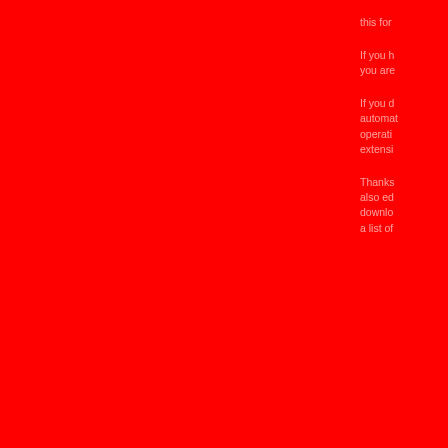[Figure (other): Red background section taking up approximately the top 3/4 of the page, with partially visible text on the right edge]
this for
If you h
you are
If you d
automat
operati
extensi
Thanks
also ed
downlo
a list of
File
+ Developer/Producer - N/A
+ File description
File